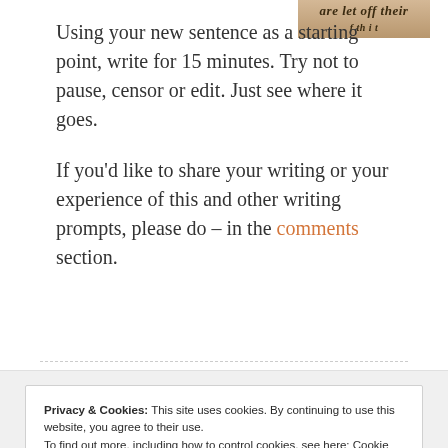[Figure (photo): Partial view of printed text on a page, partially cropped, showing italic/bold text reading 'are let off their' with additional text below]
Using your new sentence as a starting point, write for 15 minutes. Try not to pause, censor or edit. Just see where it goes.

If you'd like to share your writing or your experience of this and other writing prompts, please do – in the comments section.
Privacy & Cookies: This site uses cookies. By continuing to use this website, you agree to their use.
To find out more, including how to control cookies, see here: Cookie Policy
Close and accept